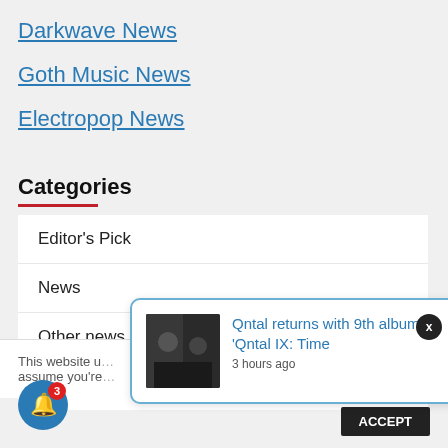Darkwave News
Goth Music News
Electropop News
Categories
Editor's Pick
News
Other news
Reviews
This website u… assume you're…
[Figure (screenshot): Notification popup showing 'Qntal returns with 9th album, 'Qntal IX: Time' posted 3 hours ago, with a thumbnail image of the band]
Qntal returns with 9th album, 'Qntal IX: Time
3 hours ago